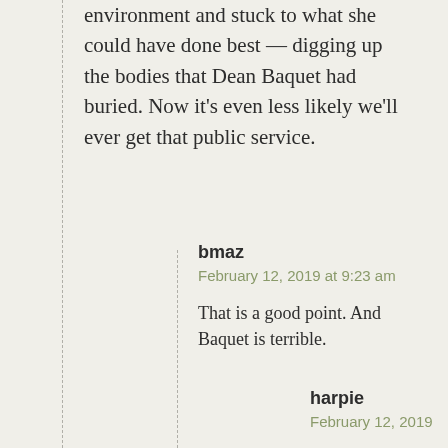environment and stuck to what she could have done best — digging up the bodies that Dean Baquet had buried. Now it's even less likely we'll ever get that public service.
bmaz
February 12, 2019 at 9:23 am
That is a good point. And Baquet is terrible.
harpie
February 12, 2019